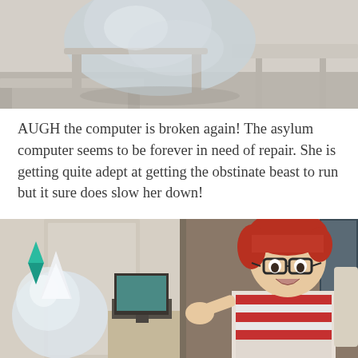[Figure (screenshot): Screenshot from The Sims video game showing a ghostly white translucent figure (ghost/sim) sitting on a chair near a table, viewed from a close angle in an indoor setting with light-colored furniture.]
AUGH the computer is broken again!  The asylum computer seems to be forever in need of repair.  She is getting quite adept at getting the obstinate beast to run but it sure does slow her down!
[Figure (screenshot): Screenshot from The Sims video game showing two sims: on the left, a ghost/white translucent sim near a computer desk with teal plumbob above; on the right, a male sim with red hair and glasses wearing a red and white striped shirt, with arms raised, appearing surprised or distressed, in an indoor room with wood-paneled walls and a door.]